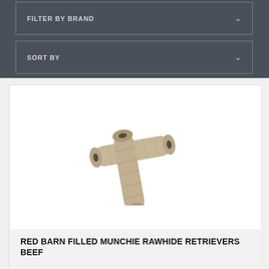FILTER BY BRAND
SORT BY
[Figure (photo): Two cylindrical rawhide dog treat tubes arranged in an L-shape on a white background]
RED BARN FILLED MUNCHIE RAWHIDE RETRIEVERS BEEF